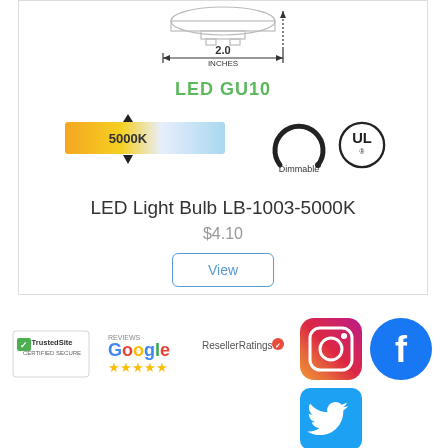[Figure (engineering-diagram): LED GU10 bulb technical diagram showing 2.0 inches width measurement and LED GU10 label in green]
[Figure (infographic): Color temperature bar from warm yellow to cool blue with 5000K marker, Dimmable arc logo, and UL certification mark]
LED Light Bulb LB-1003-5000K
$4.10
View
[Figure (logo): TrustedSite Certified Secure logo]
[Figure (logo): Google Reviews with 5 stars logo]
[Figure (logo): ResellerRatings logo]
[Figure (logo): Instagram logo]
[Figure (logo): Facebook logo]
[Figure (logo): Twitter logo]